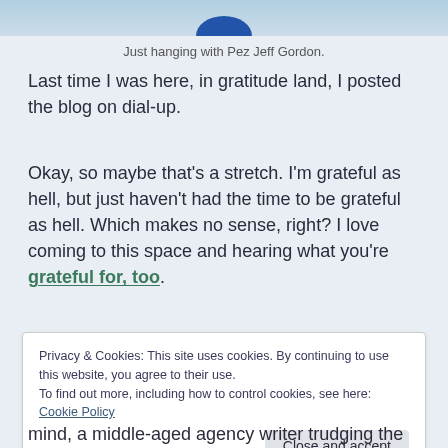[Figure (photo): Partial top of image showing a blue Pez Jeff Gordon dispenser against a light blue background]
Just hanging with Pez Jeff Gordon.
Last time I was here, in gratitude land, I posted the blog on dial-up.
Okay, so maybe that's a stretch. I'm grateful as hell, but just haven't had the time to be grateful as hell. Which makes no sense, right? I love coming to this space and hearing what you're grateful for, too.
Privacy & Cookies: This site uses cookies. By continuing to use this website, you agree to their use.
To find out more, including how to control cookies, see here: Cookie Policy
mind, a middle-aged agency writer trudging the concrete